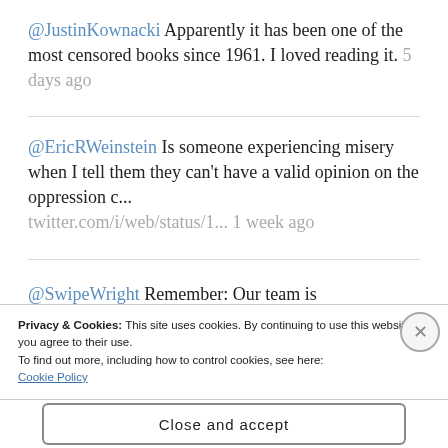@JustinKownacki Apparently it has been one of the most censored books since 1961. I loved reading it. 5 days ago
@EricRWeinstein Is someone experiencing misery when I tell them they can't have a valid opinion on the oppression c... twitter.com/i/web/status/1... 1 week ago
@SwipeWright Remember: Our team is
Privacy & Cookies: This site uses cookies. By continuing to use this website, you agree to their use.
To find out more, including how to control cookies, see here:
Cookie Policy
Close and accept